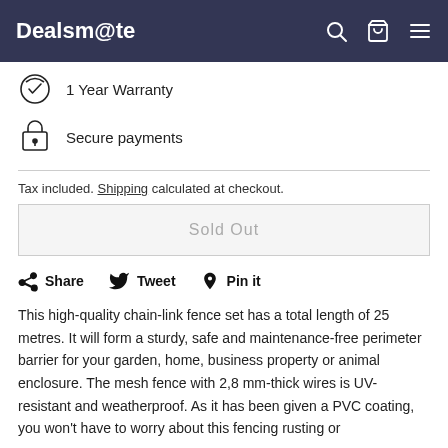Dealsmate
1 Year Warranty
Secure payments
Tax included. Shipping calculated at checkout.
Sold Out
Share  Tweet  Pin it
This high-quality chain-link fence set has a total length of 25 metres. It will form a sturdy, safe and maintenance-free perimeter barrier for your garden, home, business property or animal enclosure. The mesh fence with 2,8 mm-thick wires is UV-resistant and weatherproof. As it has been given a PVC coating, you won't have to worry about this fencing rusting or